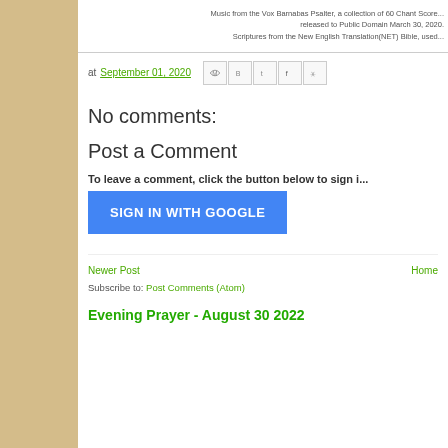Music from the Vox Barnabas Psalter, a collection of 60 Chant Score... released to Public Domain March 30, 2020. Scriptures from the New English Translation(NET) Bible, used...
at September 01, 2020
No comments:
Post a Comment
To leave a comment, click the button below to sign i...
SIGN IN WITH GOOGLE
Newer Post
Home
Subscribe to: Post Comments (Atom)
Evening Prayer - August 30 2022